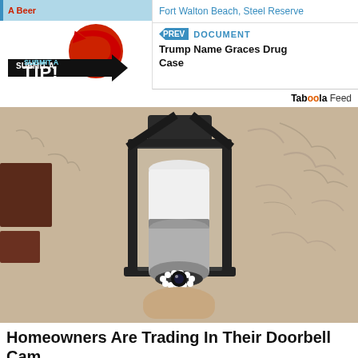A Beer
Fort Walton Beach, Steel Reserve
[Figure (illustration): Submit a TIP! graphic with red circle arrow and black arrow banner]
PREV  DOCUMENT
Trump Name Graces Drug Case
Taboola Feed
[Figure (photo): A security camera designed to look like a light bulb, installed in an outdoor lantern fixture mounted on a stucco wall]
Homeowners Are Trading In Their Doorbell Cams For This